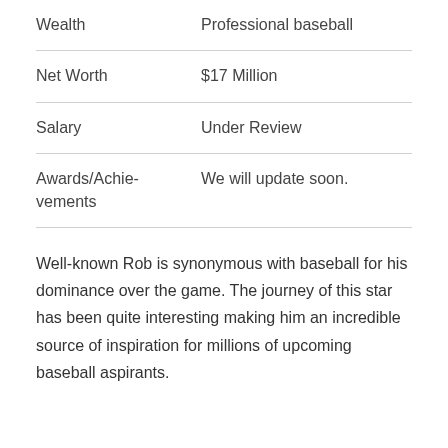| Wealth | Professional baseball |
| Net Worth | $17 Million |
| Salary | Under Review |
| Awards/Achievements | We will update soon. |
Well-known Rob is synonymous with baseball for his dominance over the game. The journey of this star has been quite interesting making him an incredible source of inspiration for millions of upcoming baseball aspirants.